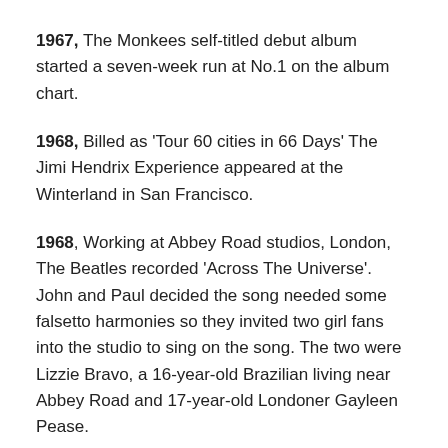1967, The Monkees self-titled debut album started a seven-week run at No.1 on the album chart.
1968, Billed as 'Tour 60 cities in 66 Days' The Jimi Hendrix Experience appeared at the Winterland in San Francisco.
1968, Working at Abbey Road studios, London, The Beatles recorded 'Across The Universe'. John and Paul decided the song needed some falsetto harmonies so they invited two girl fans into the studio to sing on the song. The two were Lizzie Bravo, a 16-year-old Brazilian living near Abbey Road and 17-year-old Londoner Gayleen Pease.
1970, John Lennon and Yoko Ono donated their hair for a centrepiece inside of the Black Room, an art...